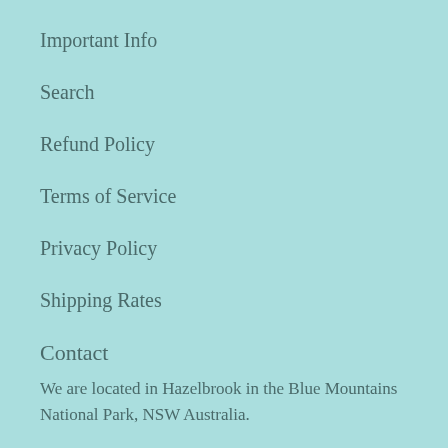Important Info
Search
Refund Policy
Terms of Service
Privacy Policy
Shipping Rates
Contact
We are located in Hazelbrook in the Blue Mountains National Park, NSW Australia.